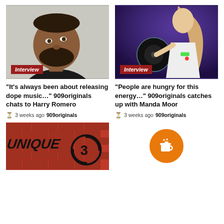[Figure (photo): Portrait of a man with beard wearing black shirt, looking up-left, light gray background. Red 'Interview' badge at bottom left.]
[Figure (photo): Female DJ with long hair operating DJ decks in purple/blue club lighting. Red 'Interview' badge at bottom left.]
“It’s always been about releasing dope music...” 909originals chats to Harry Romero
3 weeks ago  909originals
“People are hungry for this energy...” 909originals catches up with Manda Moor
3 weeks ago  909originals
[Figure (logo): UNIQUE 3 logo on brick wall background]
[Figure (illustration): Orange circular coffee/Buy Me a Coffee button with cup icon]